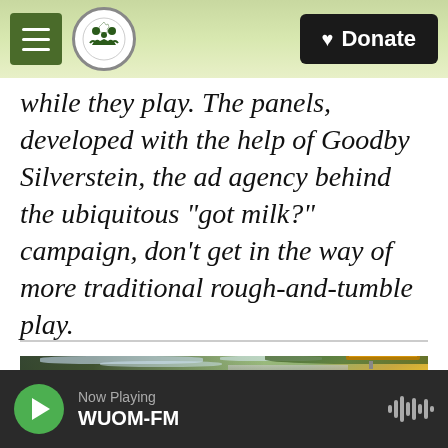Michigan Public Radio — Menu | Donate
while they play. The panels, developed with the help of Goodby Silverstein, the ad agency behind the ubiquitous “got milk?” campaign, don’t get in the way of more traditional rough-and-tumble play.
[Figure (photo): Outdoor scene with trees and a yellow sign, partially visible at the bottom of the page]
Now Playing WUOM-FM